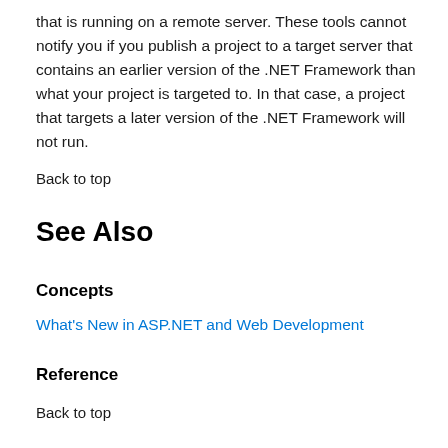that is running on a remote server. These tools cannot notify you if you publish a project to a target server that contains an earlier version of the .NET Framework than what your project is targeted to. In that case, a project that targets a later version of the .NET Framework will not run.
Back to top
See Also
Concepts
What's New in ASP.NET and Web Development
Reference
Back to top